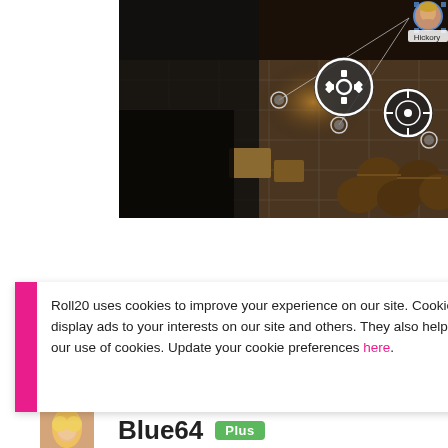[Figure (screenshot): Screenshot of a Roll20 virtual tabletop game interface showing a dungeon/tavern scene with barrels, token indicators, a character portrait labeled 'Hickory' in the top right, and action icons (gear/settings and another icon) in the center-right area. The scene is dark with warm lighting.]
Roll20 uses cookies to improve your experience on our site. Cookies enable you to enjoy certain features, social sharing functionality, and tailor message and display ads to your interests on our site and others. They also help us understand how our site is being used. By continuing to use our site, you consent to our use of cookies. Update your cookie preferences here.
Blue64 Plus